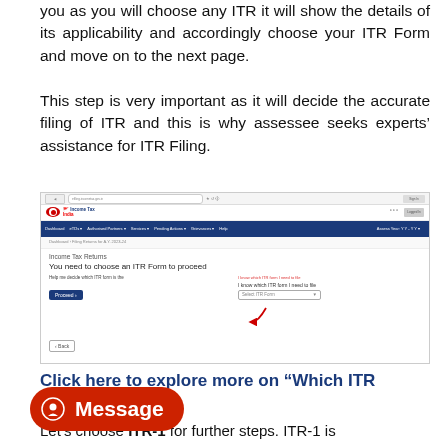you as you will choose any ITR it will show the details of its applicability and accordingly choose your ITR Form and move on to the next page.
This step is very important as it will decide the accurate filing of ITR and this is why assessee seeks experts' assistance for ITR Filing.
[Figure (screenshot): Screenshot of income tax e-filing portal showing 'Income Tax Returns' page with heading 'You need to choose an ITR Form to proceed', navigation bar, help options, Proceed button, and Select ITR Form dropdown with red arrow pointing to it.]
Click here to explore more on “Which ITR Form is Applicable on you”
Let’s choose ITR-1 for further steps. ITR-1 is